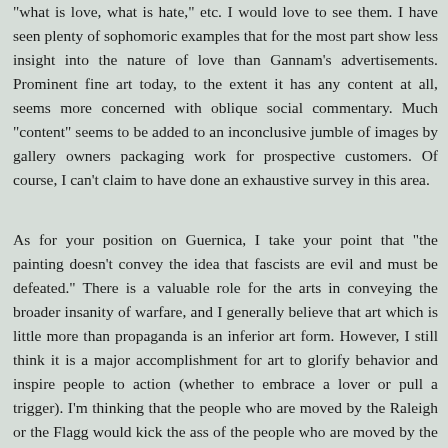"what is love, what is hate," etc. I would love to see them. I have seen plenty of sophomoric examples that for the most part show less insight into the nature of love than Gannam's advertisements. Prominent fine art today, to the extent it has any content at all, seems more concerned with oblique social commentary. Much "content" seems to be added to an inconclusive jumble of images by gallery owners packaging work for prospective customers. Of course, I can't claim to have done an exhaustive survey in this area.
As for your position on Guernica, I take your point that "the painting doesn't convey the idea that fascists are evil and must be defeated." There is a valuable role for the arts in conveying the broader insanity of warfare, and I generally believe that art which is little more than propaganda is an inferior art form. However, I still think it is a major accomplishment for art to glorify behavior and inspire people to action (whether to embrace a lover or pull a trigger). I'm thinking that the people who are moved by the Raleigh or the Flagg would kick the ass of the people who are moved by the Picasso. (How's that for a test of art?)